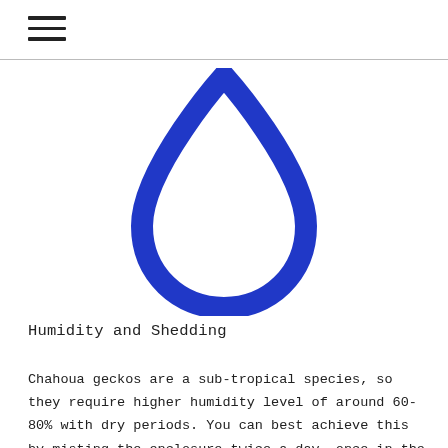[Figure (illustration): A water droplet / teardrop icon outline in blue, centered on the page. The shape is a rounded teardrop with a hollow interior, rendered as a thick blue stroke outline only (no fill inside).]
Humidity and Shedding
Chahoua geckos are a sub-tropical species, so they require higher humidity level of around 60-80% with dry periods. You can best achieve this by misting the enclosure twice a day, once in the morning and once at night. While it is good to offer a shallow bowl of fresh water, most geckos